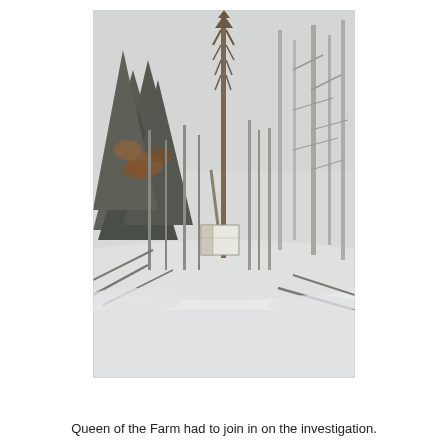[Figure (photo): Winter outdoor scene showing bare and evergreen trees covered in snow, with a tall metal tower/antenna structure rising above the treeline. A white sign or board is visible at the base of the tower. A snowy path or clearing is visible in the foreground.]
Queen of the Farm had to join in on the investigation.